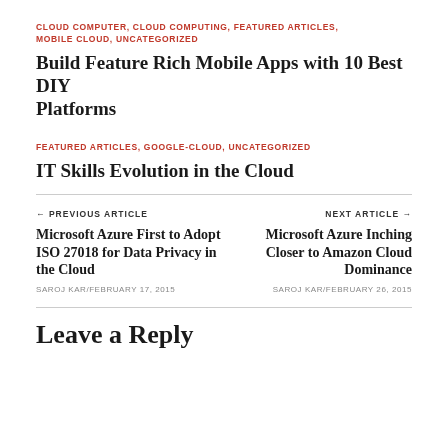CLOUD COMPUTER, CLOUD COMPUTING, FEATURED ARTICLES, MOBILE CLOUD, UNCATEGORIZED
Build Feature Rich Mobile Apps with 10 Best DIY Platforms
FEATURED ARTICLES, GOOGLE-CLOUD, UNCATEGORIZED
IT Skills Evolution in the Cloud
← PREVIOUS ARTICLE
Microsoft Azure First to Adopt ISO 27018 for Data Privacy in the Cloud
SAROJ KAR/FEBRUARY 17, 2015
NEXT ARTICLE →
Microsoft Azure Inching Closer to Amazon Cloud Dominance
SAROJ KAR/FEBRUARY 26, 2015
Leave a Reply